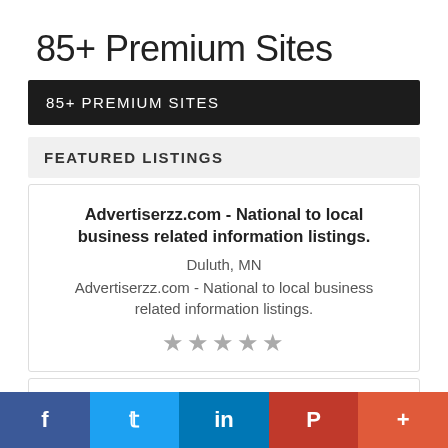85+ Premium Sites
85+ PREMIUM SITES
FEATURED LISTINGS
Advertiserzz.com - National to local business related information listings.
Duluth, MN
Advertiserzz.com - National to local business related information listings.
★★★★★
f  𝕥  in  P  +